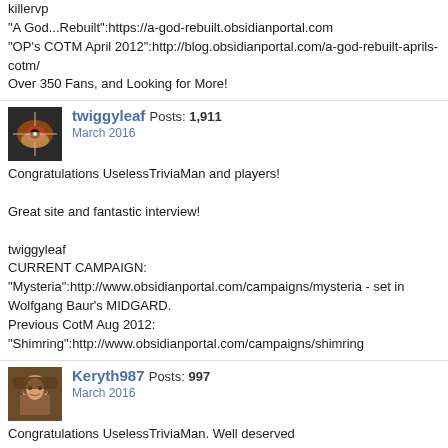killervp
"A God...Rebuilt":https://a-god-rebuilt.obsidianportal.com
"OP's COTM April 2012":http://blog.obsidianportal.com/a-god-rebuilt-aprils-cotm/
Over 350 Fans, and Looking for More!
twiggyleaf Posts: 1,911
March 2016
Congratulations UselessTriviaMan and players!

Great site and fantastic interview!

twiggyleaf
CURRENT CAMPAIGN:
"Mysteria":http://www.obsidianportal.com/campaigns/mysteria - set in Wolfgang Baur's MIDGARD.
Previous CotM Aug 2012:
"Shimring":http://www.obsidianportal.com/campaigns/shimring
Keryth987 Posts: 997
March 2016
Congratulations UselessTriviaMan. Well deserved
Kosleh Sallei